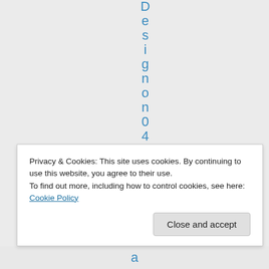D e s i g n o n 0 4 / 0 4
Privacy & Cookies: This site uses cookies. By continuing to use this website, you agree to their use.
To find out more, including how to control cookies, see here: Cookie Policy
Close and accept
a